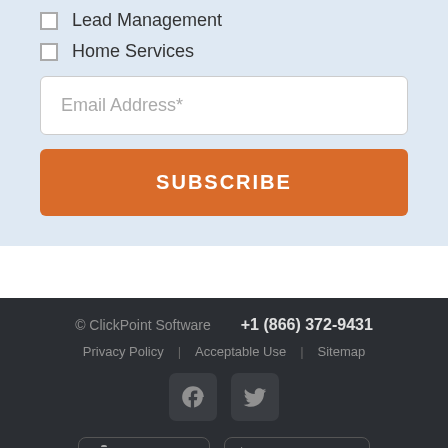Lead Management
Home Services
Email Address*
SUBSCRIBE
© ClickPoint Software  +1 (866) 372-9431  Privacy Policy | Acceptable Use | Sitemap
[Figure (other): Facebook and Twitter social media icons]
[Figure (other): App Store and Google Play badges]